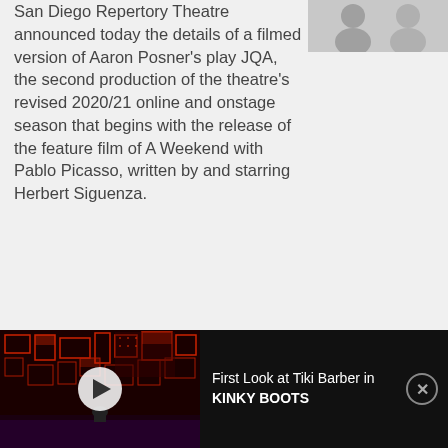[Figure (photo): Two headshots of people side by side against a light background]
San Diego Repertory Theatre announced today the details of a filmed version of Aaron Posner's play JQA, the second production of the theatre's revised 2020/21 online and onstage season that begins with the release of the feature film of A Weekend with Pablo Picasso, written by and starring Herbert Siguenza.
[Figure (screenshot): Video thumbnail of a theatrical stage with dark red and black set design, with a play button overlay. Text reads: First Look at Tiki Barber in KINKY BOOTS]